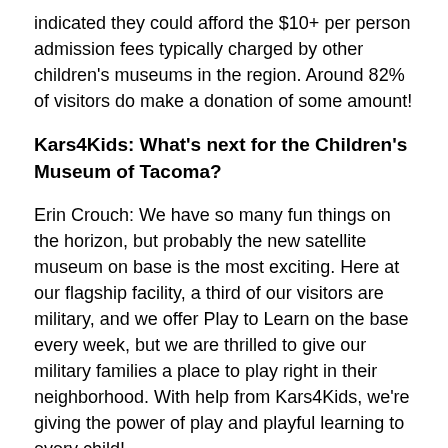indicated they could afford the $10+ per person admission fees typically charged by other children's museums in the region. Around 82% of visitors do make a donation of some amount!
Kars4Kids: What's next for the Children's Museum of Tacoma?
Erin Crouch: We have so many fun things on the horizon, but probably the new satellite museum on base is the most exciting. Here at our flagship facility, a third of our visitors are military, and we offer Play to Learn on the base every week, but we are thrilled to give our military families a place to play right in their neighborhood. With help from Kars4Kids, we're giving the power of play and playful learning to every child!